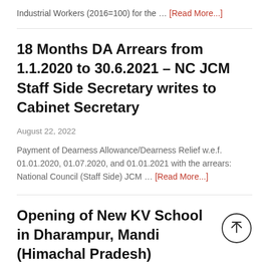Industrial Workers (2016=100) for the … [Read More...]
18 Months DA Arrears from 1.1.2020 to 30.6.2021 – NC JCM Staff Side Secretary writes to Cabinet Secretary
August 22, 2022
Payment of Dearness Allowance/Dearness Relief w.e.f. 01.01.2020, 01.07.2020, and 01.01.2021 with the arrears: National Council (Staff Side) JCM … [Read More...]
Opening of New KV School in Dharampur, Mandi (Himachal Pradesh)
August 17, 2022